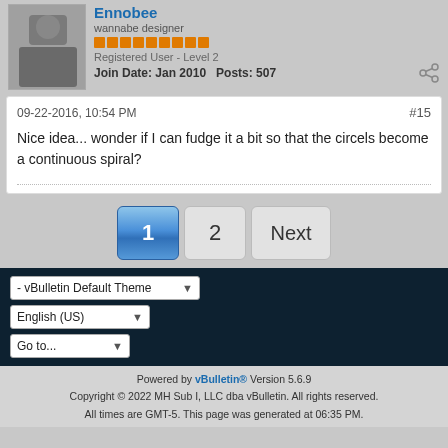Ennobee
wannabe designer
Registered User - Level 2
Join Date: Jan 2010   Posts: 507
09-22-2016, 10:54 PM
#15
Nice idea... wonder if I can fudge it a bit so that the circels become a continuous spiral?
1  2  Next
- vBulletin Default Theme
English (US)
Go to...
Powered by vBulletin® Version 5.6.9
Copyright © 2022 MH Sub I, LLC dba vBulletin. All rights reserved.
All times are GMT-5. This page was generated at 06:35 PM.